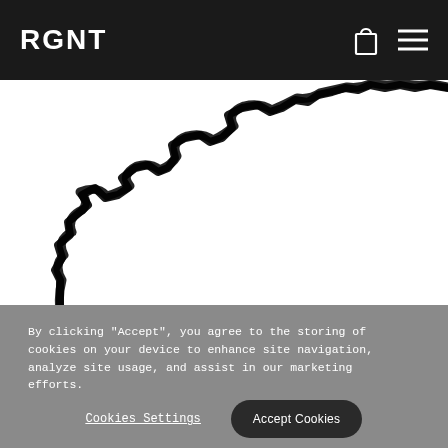RGNT
[Figure (map): Partial view of a route map showing a thick black winding path/route drawn on a white background, extending diagonally from lower-left to upper-right.]
By clicking "Accept", you agree to the storing of cookies on your device to enhance site navigation, analyze site usage, and assist in our marketing efforts.
Cookies Settings
Accept Cookies